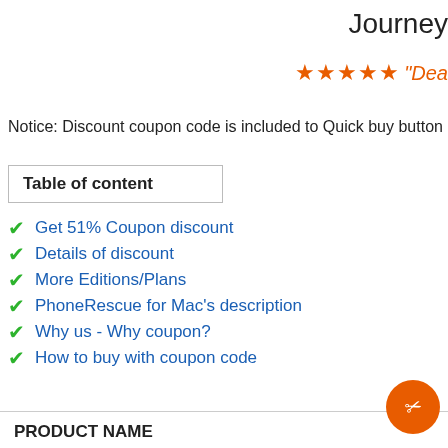Journey
★★★★★ "Dea
Notice: Discount coupon code is included to Quick buy button
| Table of content |
| --- |
Get 51% Coupon discount
Details of discount
More Editions/Plans
PhoneRescue for Mac's description
Why us - Why coupon?
How to buy with coupon code
| PRODUCT NAME |
| --- |